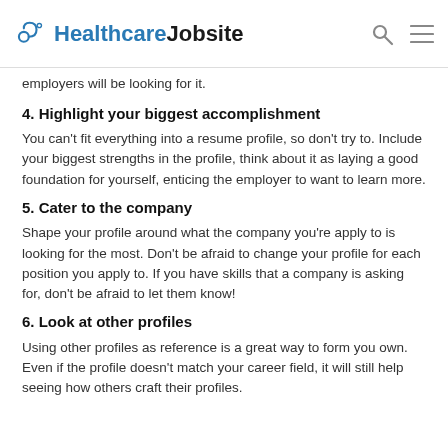HealthcareJobsite
employers will be looking for it.
4. Highlight your biggest accomplishment
You can't fit everything into a resume profile, so don't try to. Include your biggest strengths in the profile, think about it as laying a good foundation for yourself, enticing the employer to want to learn more.
5. Cater to the company
Shape your profile around what the company you're apply to is looking for the most. Don't be afraid to change your profile for each position you apply to. If you have skills that a company is asking for, don't be afraid to let them know!
6. Look at other profiles
Using other profiles as reference is a great way to form you own. Even if the profile doesn't match your career field, it will still help seeing how others craft their profiles.